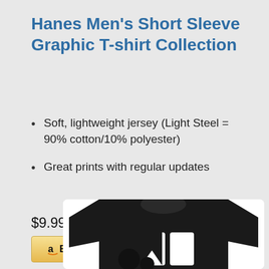Hanes Men's Short Sleeve Graphic T-shirt Collection
Soft, lightweight jersey (Light Steel = 90% cotton/10% polyester)
Great prints with regular updates
$9.99
[Figure (other): Buy on Amazon button with Amazon logo]
[Figure (photo): Black Hanes graphic t-shirt with white graphic design on front, partially visible at bottom of page]